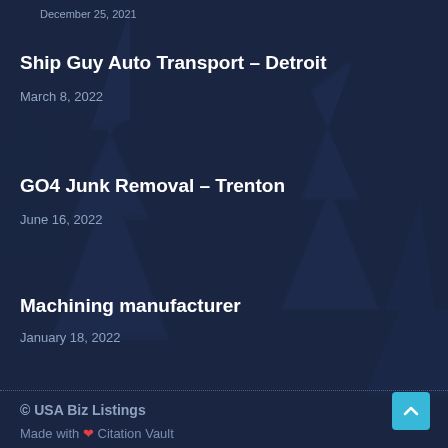December 25, 2021
Ship Guy Auto Transport – Detroit
March 8, 2022
GO4 Junk Removal – Trenton
June 16, 2022
Machining manufacturer
January 18, 2022
© USA Biz Listings
Made with ❤ Citation Vault